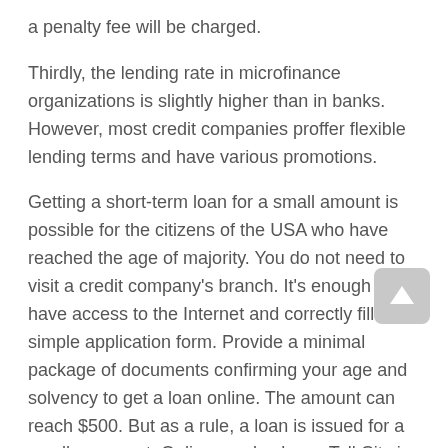a penalty fee will be charged.
Thirdly, the lending rate in microfinance organizations is slightly higher than in banks. However, most credit companies proffer flexible lending terms and have various promotions.
Getting a short-term loan for a small amount is possible for the citizens of the USA who have reached the age of majority. You do not need to visit a credit company's branch. It's enough to have access to the Internet and correctly fill out a simple application form. Provide a minimal package of documents confirming your age and solvency to get a loan online. The amount can reach $500. But as a rule, a loan is issued for a smaller amount. Online payday loans Tell City in Indiana IN are issued immediately after verification of the entered data. The period for which the cash advance is issued is usually 30 days.
There are a lot of benefits when you get a loan from a